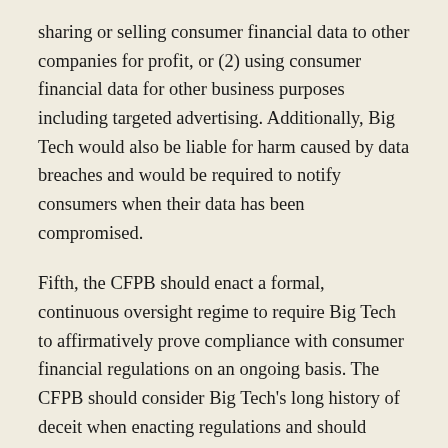sharing or selling consumer financial data to other companies for profit, or (2) using consumer financial data for other business purposes including targeted advertising. Additionally, Big Tech would also be liable for harm caused by data breaches and would be required to notify consumers when their data has been compromised.
Fifth, the CFPB should enact a formal, continuous oversight regime to require Big Tech to affirmatively prove compliance with consumer financial regulations on an ongoing basis. The CFPB should consider Big Tech's long history of deceit when enacting regulations and should accordingly design those regulations to require affirmative proof of compliance instead of relying on subjective assertions from Big Tech that it is following the law.